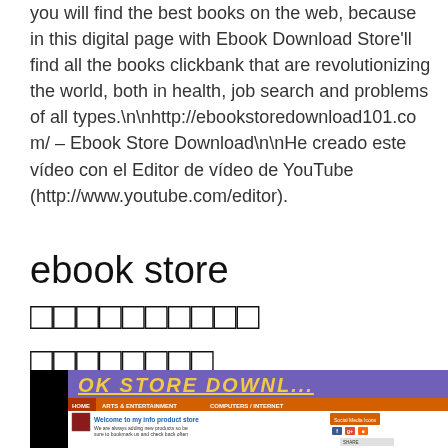you will find the best books on the web, because in this digital page with Ebook Download Store'll find all the books clickbank that are revolutionizing the world, both in health, job search and problems of all types.\n\nhttp://ebookstoredownload101.com/ – Ebook Store Download\n\nHe creado este vídeo con el Editor de vídeo de YouTube (http://www.youtube.com/editor).
ebook store □□□□□□□□□□ □□□□□□□□
[Figure (screenshot): Screenshot of an ebook store website showing banner 'OK STORE DOWNL...' with navigation bar, welcome message 'Welcome to my info product store', and social media icons.]